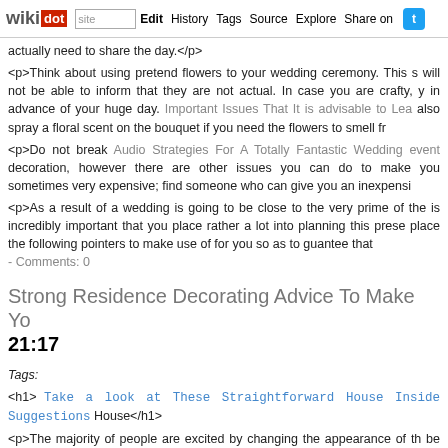wikidot | site | Edit | History | Tags | Source | Explore | Share on [Twitter]
actually need to share the day.</p>
<p>Think about using pretend flowers to your wedding ceremony. This s will not be able to inform that they are not actual. In case you are crafty, y in advance of your huge day. Important Issues That It is advisable to Lea also spray a floral scent on the bouquet if you need the flowers to smell fr
<p>Do not break Audio Strategies For A Totally Fantastic Wedding event decoration, however there are other issues you can do to make you sometimes very expensive; find someone who can give you an inexpensi
<p>As a result of a wedding is going to be close to the very prime of the is incredibly important that you place rather a lot into planning this prese place the following pointers to make use of for you so as to guantee that - Comments: 0
Strong Residence Decorating Advice To Make Yo 21:17
Tags:
<h1> Take a look at These Straightforward House Inside Suggestions House</h1>
<p>The majority of people are excited by changing the appearance of th be too costly. The truth is in case you are good about fixing up your hous a better wanting home in the method. This article provides you with sor started.</p>